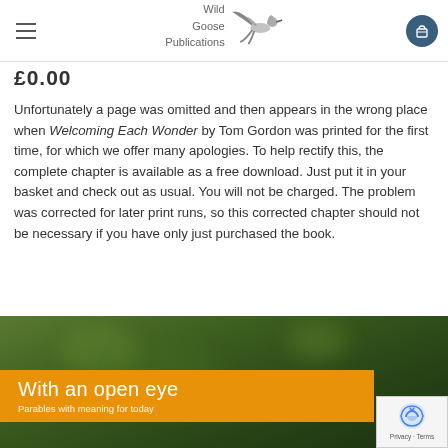Wild Goose Publications
£0.00
Unfortunately a page was omitted and then appears in the wrong place when Welcoming Each Wonder by Tom Gordon was printed for the first time, for which we offer many apologies. To help rectify this, the complete chapter is available as a free download. Just put it in your basket and check out as usual. You will not be charged. The problem was corrected for later print runs, so this corrected chapter should not be necessary if you have only just purchased the book.
[Figure (photo): Banner image with green blurred foliage background and orange strip reading 'With an open eye – Parables with meaning for today']